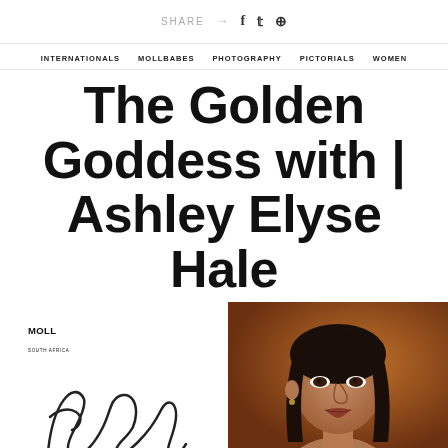SHARE → f 𝕏 ⓟ
INTERNATIONALS   MOLLBABES   PHOTOGRAPHY   PICTORIALS   WOMEN
The Golden Goddess with | Ashley Elyse Hale
[Figure (illustration): MOLL South Africa logo with cursive 'Ashley' signature text on left, and a portrait photo of a woman with long dark hair on a warm brown/terracotta background on the right.]